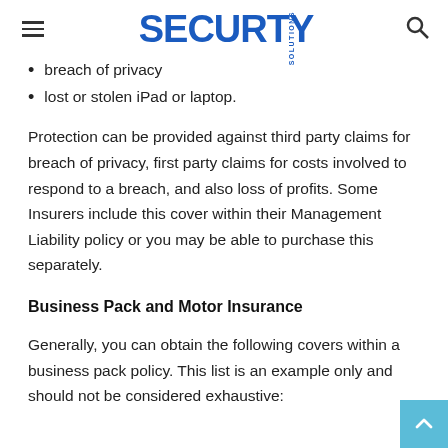SECURITY SOLUTIONS
breach of privacy
lost or stolen iPad or laptop.
Protection can be provided against third party claims for breach of privacy, first party claims for costs involved to respond to a breach, and also loss of profits. Some Insurers include this cover within their Management Liability policy or you may be able to purchase this separately.
Business Pack and Motor Insurance
Generally, you can obtain the following covers within a business pack policy. This list is an example only and should not be considered exhaustive: